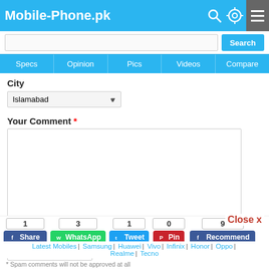Mobile-Phone.pk
Specs | Opinion | Pics | Videos | Compare
City
Islamabad (dropdown)
Your Comment *
Question: What is capital of Pakistan? *
Close x
1 Share | 3 WhatsApp | 1 Tweet | 0 Pin | 9 Recommend
Latest Mobiles | Samsung | Huawei | Vivo | Infinix | Honor | Oppo | Realme | Tecno
Spam comments will not be approved at all